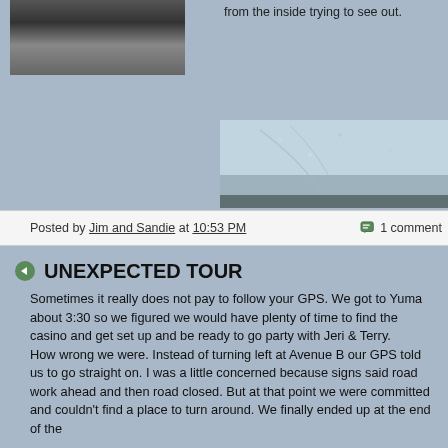[Figure (photo): Top-left photo showing a dark vehicle on a road surface, photographed from above/outside]
from the inside trying to see out.
[Figure (photo): Photo of a dirty or frosted windshield/window viewed from inside a vehicle, showing grime and streaks on the glass with dashboard visible at bottom]
Posted by Jim and Sandie at 10:53 PM   1 comment
UNEXPECTED TOUR
Sometimes it really does not pay to follow your GPS. We got to Yuma about 3:30 so we figured we would have plenty of time to find the casino and get set up and be ready to go party with Jeri & Terry.
How wrong we were. Instead of turning left at Avenue B our GPS told us to go straight on. I was a little concerned because signs said road work ahead and then road closed. But at that point we were committed and couldn't find a place to turn around. We finally ended up at the end of the